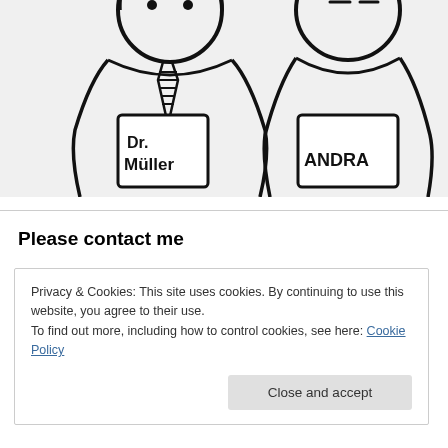[Figure (illustration): Black and white sketch/illustration of two cartoon-style figures wearing name badges. The left figure wears a striped tie and has a badge reading 'Dr. Müller'. The right figure has a badge reading 'ANDRA'.]
Please contact me
Privacy & Cookies: This site uses cookies. By continuing to use this website, you agree to their use.
To find out more, including how to control cookies, see here: Cookie Policy